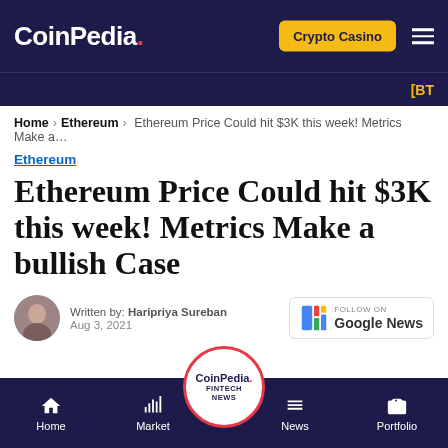CoinPedia. | Crypto Casino | [BTC
Home > Ethereum > Ethereum Price Could hit $3K this week! Metrics Make a...
Ethereum
Ethereum Price Could hit $3K this week! Metrics Make a bullish Case
Written by: Haripriya Sureban
Aug 3, 2021
[Figure (logo): Follow on Google News badge]
Home | Market | CoinPedia FINTECH NEWS | News | Portfolio